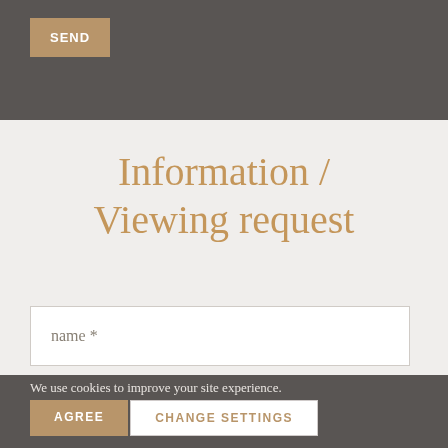SEND
Information / Viewing request
name *
We use cookies to improve your site experience.
AGREE
CHANGE SETTINGS